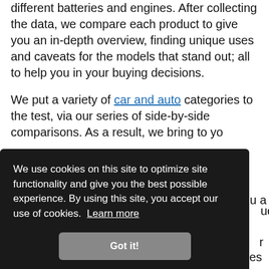different batteries and engines. After collecting the data, we compare each product to give you an in-depth overview, finding unique uses and caveats for the models that stand out; all to help you in your buying decisions.
We put a variety of car and auto categories to the test, via our series of side-by-side comparisons. As a result, we bring to you a ... ucts ... r ... udes
We use cookies on this site to optimize site functionality and give you the best possible experience. By using this site, you accept our use of cookies. Learn more